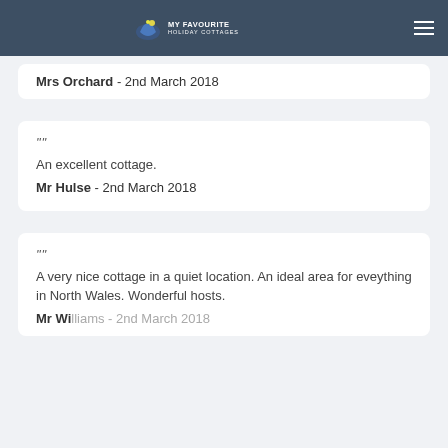MY FAVOURITE HOLIDAY COTTAGES
Mrs Orchard  -  2nd March 2018
"" An excellent cottage. Mr Hulse  -  2nd March 2018
"" A very nice cottage in a quiet location. An ideal area for eveything in North Wales. Wonderful hosts. Mr Williams  -  2nd March 2018